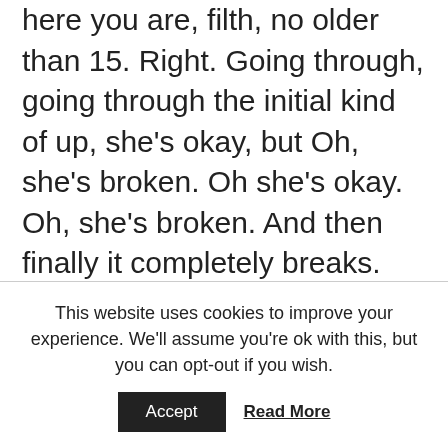here you are, filth, no older than 15. Right. Going through, going through the initial kind of up, she's okay, but Oh, she's broken. Oh she's okay. Oh, she's broken. And then finally it completely breaks. Right. That period is so, I mean you've got two little kids and I know they're not that age right now, but that teenage period is so critical. Right. To development. What in the world were you thinking throughout that entire time? Like either of the situation going on or how it, how, what it meant for you in your own gene pool?
This website uses cookies to improve your experience. We'll assume you're ok with this, but you can opt-out if you wish.
Accept  Read More